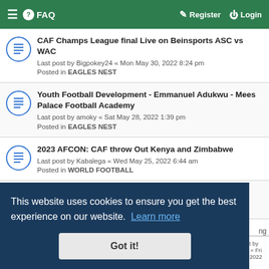≡ FAQ | Register Login
CAF Champs League final Live on Beinsports ASC vs WAC
Last post by Bigpokey24 « Mon May 30, 2022 8:24 pm
Posted in EAGLES NEST
Youth Football Development - Emmanuel Adukwu - Mees Palace Football Academy
Last post by amoky « Sat May 28, 2022 1:39 pm
Posted in EAGLES NEST
2023 AFCON: CAF throw Out Kenya and Zimbabwe
Last post by Kabalega « Wed May 25, 2022 6:44 am
Posted in WORLD FOOTBALL
Lyon 3 - 1 Barca in Women's CL Final
Last post by Kabalega « Sun May 22, 2022 3:35 pm
This website uses cookies to ensure you get the best experience on our website. Learn more
Got it!
Last post by Enugu II « Fri May 20, 2022 9:18 pm